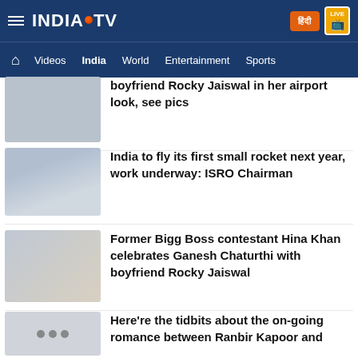INDIA TV — Navigation: Videos, India, World, Entertainment, Sports
boyfriend Rocky Jaiswal in her airport look, see pics
India to fly its first small rocket next year, work underway: ISRO Chairman
Former Bigg Boss contestant Hina Khan celebrates Ganesh Chaturthi with boyfriend Rocky Jaiswal
Here're the tidbits about the on-going romance between Ranbir Kapoor and